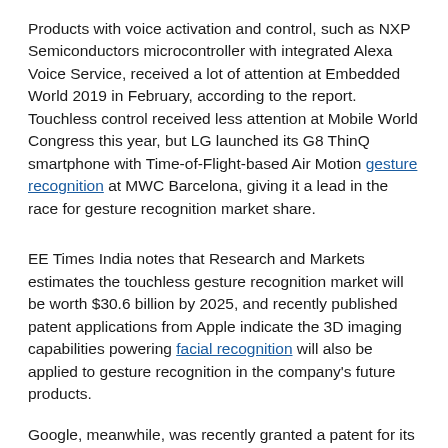Products with voice activation and control, such as NXP Semiconductors microcontroller with integrated Alexa Voice Service, received a lot of attention at Embedded World 2019 in February, according to the report. Touchless control received less attention at Mobile World Congress this year, but LG launched its G8 ThinQ smartphone with Time-of-Flight-based Air Motion gesture recognition at MWC Barcelona, giving it a lead in the race for gesture recognition market share.
EE Times India notes that Research and Markets estimates the touchless gesture recognition market will be worth $30.6 billion by 2025, and recently published patent applications from Apple indicate the 3D imaging capabilities powering facial recognition will also be applied to gesture recognition in the company's future products.
Google, meanwhile, was recently granted a patent for its radar-based touchless gesture recognition, its second patent in the area. The Federal Communications Commission (FCC) also granted Google a waiver to use its short-range interactive motion sensing in the 57-64 GHz band, which EE Times reports allows it to